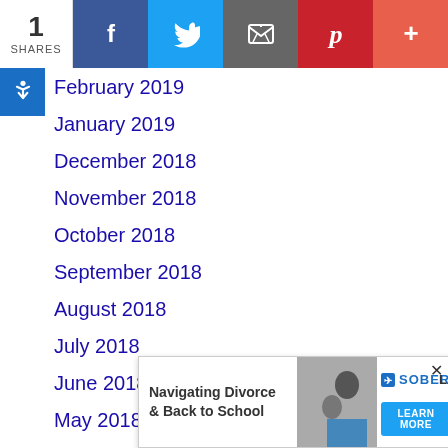1 SHARES | Facebook | Twitter | Email | Pinterest | More
February 2019
January 2019
December 2018
November 2018
October 2018
September 2018
August 2018
July 2018
June 2018
May 2018
April 2018
March 2018
[Figure (infographic): Advertisement banner: Navigating Divorce & Back to School with Soberlink logo and Learn More button]